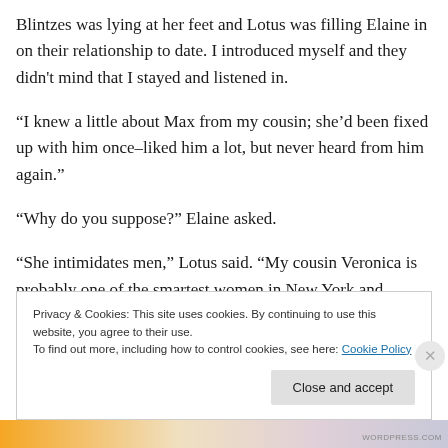Blintzes was lying at her feet and Lotus was filling Elaine in on their relationship to date. I introduced myself and they didn't mind that I stayed and listened in.
“I knew a little about Max from my cousin; she’d been fixed up with him once–liked him a lot, but never heard from him again.”
“Why do you suppose?” Elaine asked.
“She intimidates men,” Lotus said. “My cousin Veronica is probably one of the smartest women in New York and
Privacy & Cookies: This site uses cookies. By continuing to use this website, you agree to their use.
To find out more, including how to control cookies, see here: Cookie Policy
Close and accept